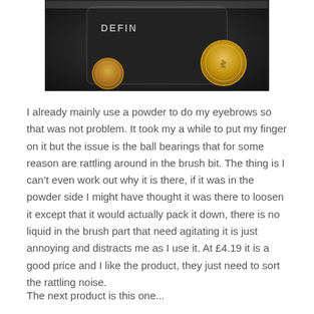[Figure (photo): Close-up photo of a dark/black cosmetic product with gold seal emblem, partially cropped at top]
I already mainly use a powder to do my eyebrows so that was not problem. It took my a while to put my finger on it but the issue is the ball bearings that for some reason are rattling around in the brush bit. The thing is I can't even work out why it is there, if it was in the powder side I might have thought it was there to loosen it except that it would actually pack it down, there is no liquid in the brush part that need agitating it is just annoying and distracts me as I use it. At £4.19 it is a good price and I like the product, they just need to sort the rattling noise.
The next product is this one...